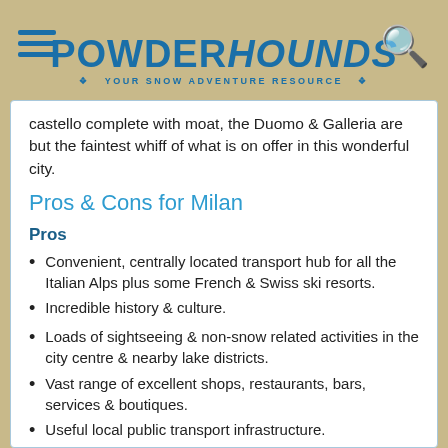POWDERHOUNDS — YOUR SNOW ADVENTURE RESOURCE
castello complete with moat, the Duomo & Galleria are but the faintest whiff of what is on offer in this wonderful city.
Pros & Cons for Milan
Pros
Convenient, centrally located transport hub for all the Italian Alps plus some French & Swiss ski resorts.
Incredible history & culture.
Loads of sightseeing & non-snow related activities in the city centre & nearby lake districts.
Vast range of excellent shops, restaurants, bars, services & boutiques.
Useful local public transport infrastructure.
Cons